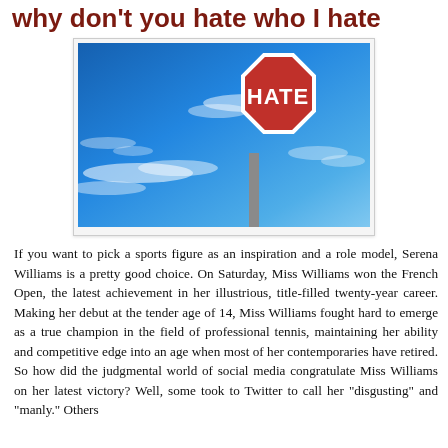why don't you hate who I hate
[Figure (photo): A red octagonal stop sign reading 'HATE' instead of 'STOP', mounted on a metal pole against a blue sky with wispy white clouds.]
If you want to pick a sports figure as an inspiration and a role model, Serena Williams is a pretty good choice. On Saturday, Miss Williams won the French Open, the latest achievement in her illustrious, title-filled twenty-year career. Making her debut at the tender age of 14, Miss Williams fought hard to emerge as a true champion in the field of professional tennis, maintaining her ability and competitive edge into an age when most of her contemporaries have retired. So how did the judgmental world of social media congratulate Miss Williams on her latest victory? Well, some took to Twitter to call her "disgusting" and "manly." Others